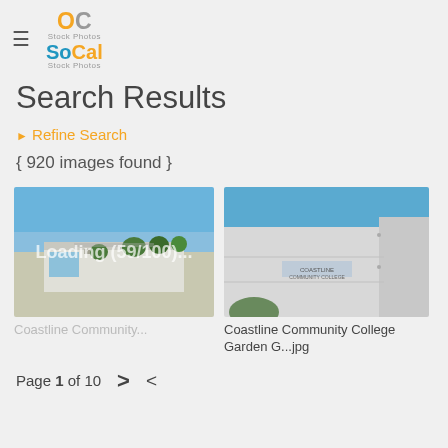OC Stock Photos / SoCal Stock Photos
Search Results
▶ Refine Search
{ 920 images found }
[Figure (photo): Coastline Community College building aerial view with blue sky and trees]
Coastline Community...
[Figure (photo): Coastline Community College Garden G - building facade with signage against blue sky]
Coastline Community College Garden G...jpg
Page 1 of 10  >  share